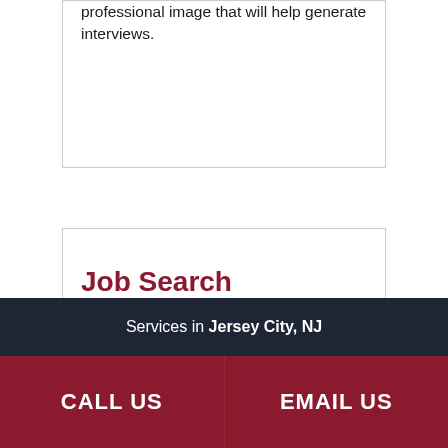professional image that will help generate interviews.
Job Search Techniques
Since many jobs are not advertised, students are taught how to find IT opportunities using multiple resources simultaneously, including online and social media tools to help them get noticed by employers and bring unadvertised jobs to them.
Services in Jersey City, NJ
CALL US
EMAIL US